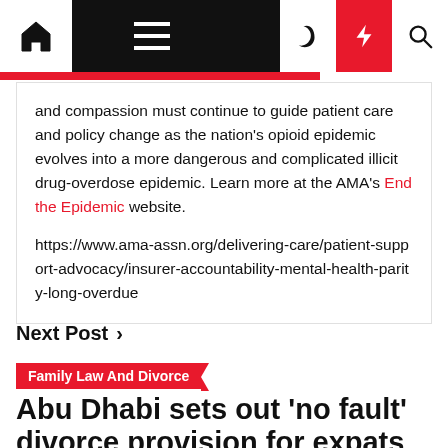Navigation bar with home, menu, dark mode, flash, and search icons
and compassion must continue to guide patient care and policy change as the nation's opioid epidemic evolves into a more dangerous and complicated illicit drug-overdose epidemic. Learn more at the AMA's End the Epidemic website.

https://www.ama-assn.org/delivering-care/patient-support-advocacy/insurer-accountability-mental-health-parity-long-overdue
Next Post >
Family Law And Divorce
Abu Dhabi sets out 'no fault' divorce provision for expats